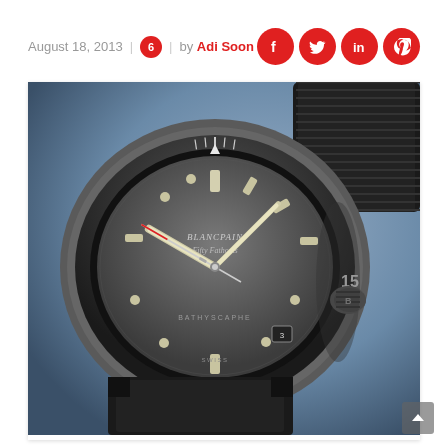August 18, 2013 | 6 | by Adi Soon
[Figure (photo): Close-up photograph of a Blancpain Fifty Fathoms dive watch with dark grey brushed dial, black rotating bezel with minute markers and numbers (15, 30, 45), luminous hour markers and hands, date window at 3 o'clock, red seconds hand tip, and a winding crown with B monogram, on a black NATO-style strap, against a blue-grey gradient background.]